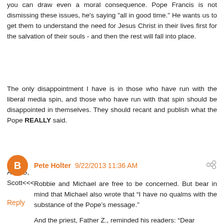you can draw even a moral consequence. Pope Francis is not dismissing these issues, he's saying "all in good time." He wants us to get them to understand the need for Jesus Christ in their lives first for the salvation of their souls - and then the rest will fall into place.
The only disappointment I have is in those who have run with the liberal media spin, and those who have run with that spin should be disappointed in themselves. They should recant and publish what the Pope REALLY said.
AMDG,
Scott<<<
Reply
Pete Holter 9/22/2013 11:36 AM
Robbie and Michael are free to be concerned. But bear in mind that Michael also wrote that “I have no qualms with the substance of the Pope’s message.”
And the priest, Father Z., reminded his readers: “Dear